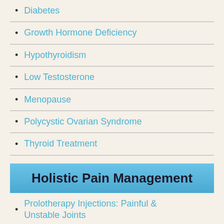Diabetes
Growth Hormone Deficiency
Hypothyroidism
Low Testosterone
Menopause
Polycystic Ovarian Syndrome
Thyroid Treatment
Holistic Pain Management
Prolotherapy Injections: Painful & Unstable Joints
Sarapin Injections: Sciatica & Other Nerve Irritations
Osteopathic Manipulation